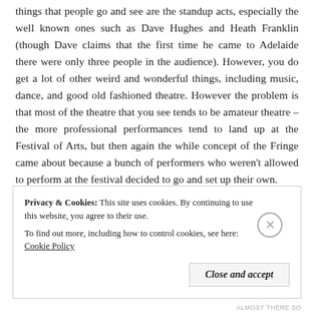things that people go and see are the standup acts, especially the well known ones such as Dave Hughes and Heath Franklin (though Dave claims that the first time he came to Adelaide there were only three people in the audience). However, you do get a lot of other weird and wonderful things, including music, dance, and good old fashioned theatre. However the problem is that most of the theatre that you see tends to be amateur theatre – the more professional performances tend to land up at the Festival of Arts, but then again the while concept of the Fringe came about because a bunch of performers who weren't allowed to perform at the festival decided to go and set up their own.
Privacy & Cookies: This site uses cookies. By continuing to use this website, you agree to their use. To find out more, including how to control cookies, see here: Cookie Policy
ALMOST THERE SO